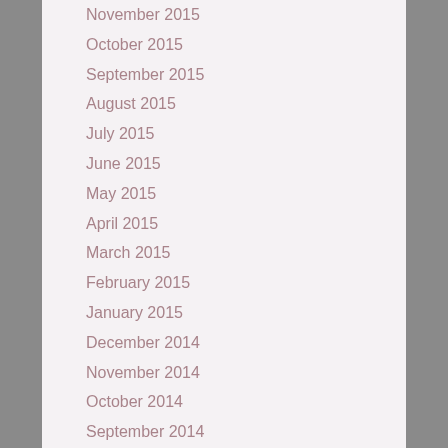November 2015
October 2015
September 2015
August 2015
July 2015
June 2015
May 2015
April 2015
March 2015
February 2015
January 2015
December 2014
November 2014
October 2014
September 2014
July 2014
June 2014
May 2014
April 2014